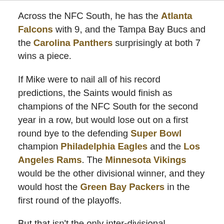Across the NFC South, he has the Atlanta Falcons with 9, and the Tampa Bay Bucs and the Carolina Panthers surprisingly at both 7 wins a piece.
If Mike were to nail all of his record predictions, the Saints would finish as champions of the NFC South for the second year in a row, but would lose out on a first round bye to the defending Super Bowl champion Philadelphia Eagles and the Los Angeles Rams. The Minnesota Vikings would be the other divisional winner, and they would host the Green Bay Packers in the first round of the playoffs.
But that isn't the only inter-divisional postseason matchup projection. According to Mike Clay, the Saints would host the rival Atlanta Falcons in New Orleans in the first round.